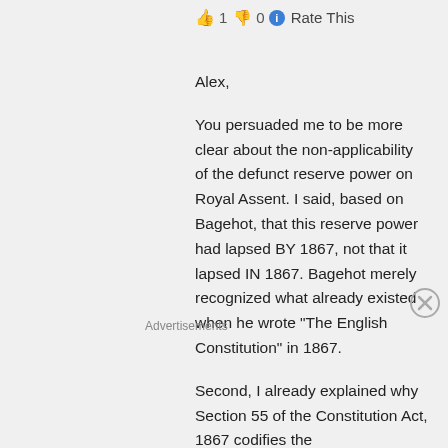👍 1 👎 0 ℹ Rate This
Alex,
You persuaded me to be more clear about the non-applicability of the defunct reserve power on Royal Assent. I said, based on Bagehot, that this reserve power had lapsed BY 1867, not that it lapsed IN 1867. Bagehot merely recognized what already existed when he wrote “The English Constitution” in 1867.
Second, I already explained why Section 55 of the Constitution Act, 1867 codifies the
Advertisements